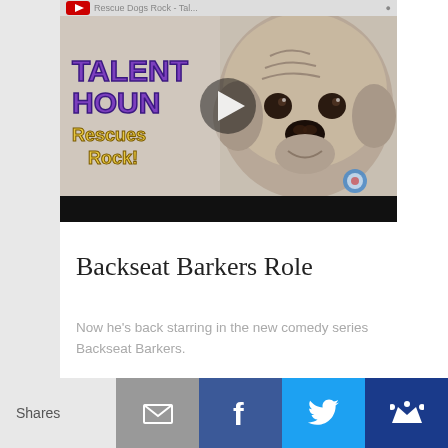[Figure (screenshot): YouTube-style video thumbnail showing a pug dog face with overlay text 'TALENT HOUNDS Rescues Rock!' in purple and gold. A play button triangle is centered. Below is a black video control bar.]
Backseat Barkers Role
Now he's back starring in the new comedy series Backseat Barkers.
Shares [email] [facebook] [twitter] [other]